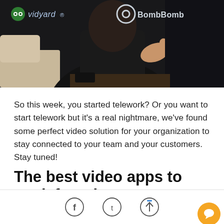[Figure (photo): Dark banner photo showing a person in dark clothing gesturing with their hand, with Vidyard logo on the top left and BombBomb logo on the top right]
So this week, you started telework? Or you want to start telework but it's a real nightmare, we've found some perfect video solution for your organization to stay connected to your team and your customers. Stay tuned!
The best video apps to work from home
Facebook share, Twitter share, Share up arrow, Chat bubble